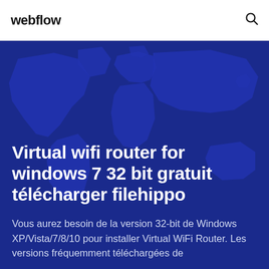webflow
Virtual wifi router for windows 7 32 bit gratuit télécharger filehippo
Vous aurez besoin de la version 32-bit de Windows XP/Vista/7/8/10 pour installer Virtual WiFi Router. Les versions fréquemment téléchargées de